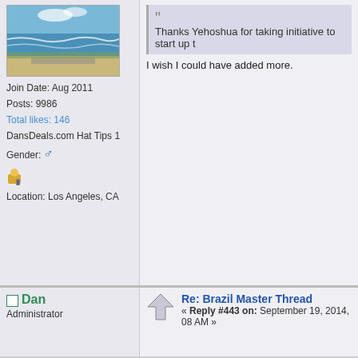[Figure (photo): Beach/ocean photo used as user avatar showing waves, sandy beach, and coastal road]
Join Date: Aug 2011
Posts: 9986
Total likes: 146
DansDeals.com Hat Tips 1
Gender: ♂
Location: Los Angeles, CA
Thanks Yehoshua for taking initiative to start up t...
I wish I could have added more.
MEIR613
Dansdeals Presidential Platinum Elite
Join Date: Aug 2012
Posts: 4857
Total likes: 5
DansDeals.com Hat Tips 7
Re: Brazil Master Thread
« Reply #442 on: September 19, 2014, 07 AM »
In SP, Via Babush had pretty good sushi.
It's basically all you can eat of sushi for $2...
Dan
Administrator
Re: Brazil Master Thread
« Reply #443 on: September 19, 2014, 08 AM »